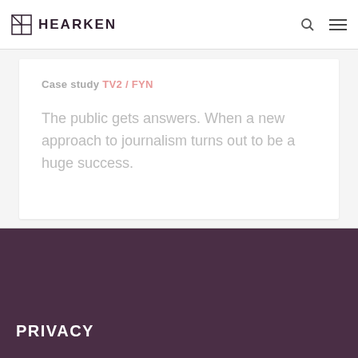HEARKEN
Case study TV2 / FYN
The public gets answers. When a new approach to journalism turns out to be a huge success.
PRIVACY